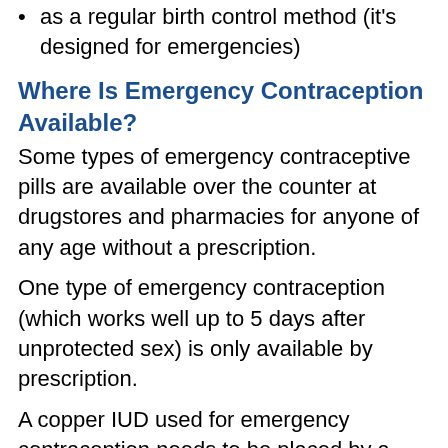as a regular birth control method (it's designed for emergencies)
Where Is Emergency Contraception Available?
Some types of emergency contraceptive pills are available over the counter at drugstores and pharmacies for anyone of any age without a prescription.
One type of emergency contraception (which works well up to 5 days after unprotected sex) is only available by prescription.
A copper IUD used for emergency contraception needs to be placed by a doctor or nurse practitioner. This can be done at a doctor's office or a health clinic, like Planned Parenthood.